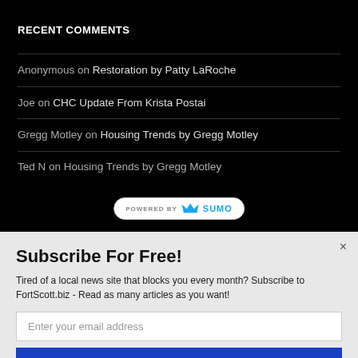RECENT COMMENTS
Anonymous on Restoration by Patty LaRoche
Joe on CHC Update From Krista Postai
Gregg Motley on Housing Trends by Gregg Motley
Ted N on Housing Trends by Gregg Motley
Subscribe For Free!
Tired of a local news site that blocks you every month? Subscribe to FortScott.biz - Read as many articles as you want!
Enter your email address
SUBSCRIBE NOW